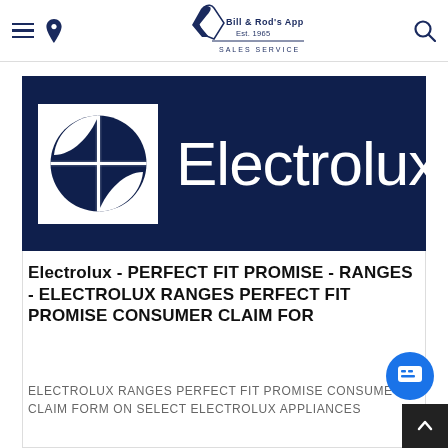Bill & Rod's Appliance, Inc. Est. 1965 — SALES  SERVICE  PARTS
[Figure (logo): Electrolux brand logo: dark navy blue rectangle with the Electrolux wordmark in white and the Electrolux circular symbol (stylized cross/compass) on the left side in white on a white square background.]
Electrolux - PERFECT FIT PROMISE - RANGES - ELECTROLUX RANGES PERFECT FIT PROMISE CONSUMER CLAIM FOR
ELECTROLUX RANGES PERFECT FIT PROMISE CONSUMER CLAIM FORM On select Electrolux appliances